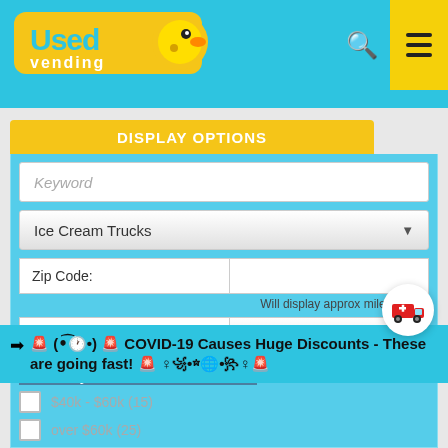[Figure (logo): UsedVending logo with yellow duck/bird icon on cyan background]
DISPLAY OPTIONS
Keyword
Ice Cream Trucks
Zip Code:
Will display approx miles away
Sort By:
Please Select
Filter by Price
under $15k (13)
$15k - $25k (8)
→ 🚨 (•͡🕐•) 🚨 COVID-19 Causes Huge Discounts - These are going fast! 🚨 ♀꧁•☆🌐•꧂♀🚨
$40k - $60k (15)
over $60k (25)